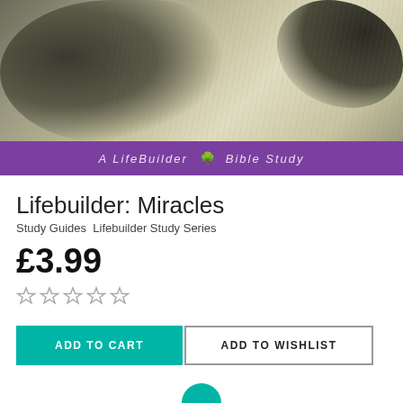[Figure (photo): Book cover of Lifebuilder: Miracles. Shows a black and white illustration with a dark blob shape on the left, beige/cream patterned background, and a purple banner at the bottom reading 'A LifeBuilder Bible Study' with a teal tree icon in the centre.]
Lifebuilder: Miracles
Study Guides  Lifebuilder Study Series
£3.99
[Figure (other): Five empty star rating icons]
ADD TO CART
ADD TO WISHLIST